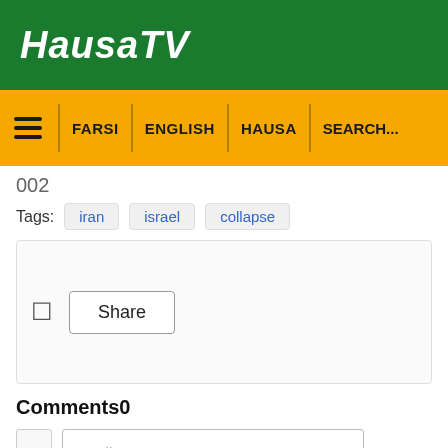HausaTV
[Figure (screenshot): Navigation bar with hamburger menu and links: FARSI, ENGLISH, HAUSA, SEARCH...]
002
Tags: iran  israel  collapse
[Figure (screenshot): Share widget box with share icon and Share button]
Comments0
[Figure (screenshot): Comment form with avatar placeholder, Email input field, Name input field, and notification bell button]